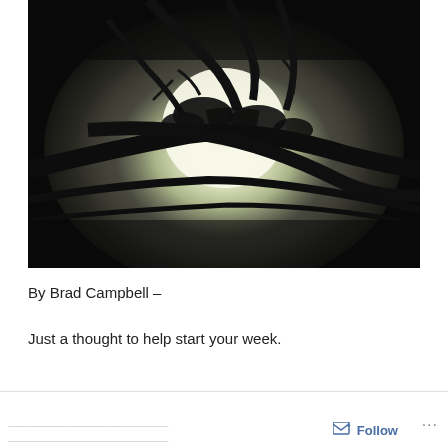[Figure (photo): Night photograph of a full moon glowing brightly through dark silhouetted tree branches against a black sky, with a soft luminous halo around the moon]
By Brad Campbell –
Just a thought to help start your week.
Follow ...